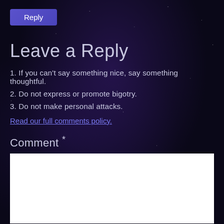Reply
Leave a Reply
1. If you can't say something nice, say something thoughtful.
2. Do not express or promote bigotry.
3. Do not make personal attacks.
Read our full comments policy.
Comment *